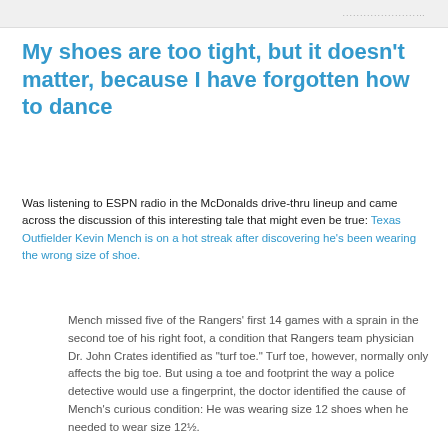.....................
My shoes are too tight, but it doesn't matter, because I have forgotten how to dance
Was listening to ESPN radio in the McDonalds drive-thru lineup and came across the discussion of this interesting tale that might even be true: Texas Outfielder Kevin Mench is on a hot streak after discovering he's been wearing the wrong size of shoe.
Mench missed five of the Rangers' first 14 games with a sprain in the second toe of his right foot, a condition that Rangers team physician Dr. John Crates identified as "turf toe." Turf toe, however, normally only affects the big toe. But using a toe and footprint the way a police detective would use a fingerprint, the doctor identified the cause of Mench's curious condition: He was wearing size 12 shoes when he needed to wear size 12½.